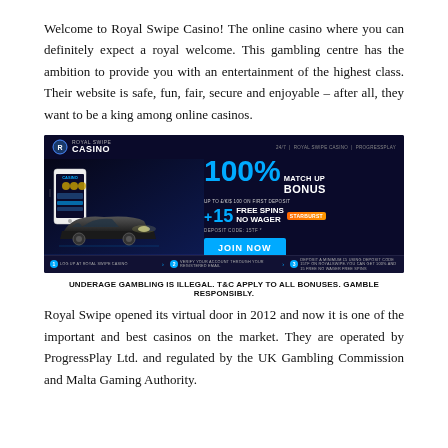Welcome to Royal Swipe Casino! The online casino where you can definitely expect a royal welcome. This gambling centre has the ambition to provide you with an entertainment of the highest class. Their website is safe, fun, fair, secure and enjoyable – after all, they want to be a king among online casinos.
[Figure (photo): Royal Swipe Casino banner advertisement showing a sports car and mobile phone with casino interface, offering 100% Match Up Bonus up to £/€/$ 100 on first deposit plus +15 Free Spins No Wager with deposit code 15TF and a JOIN NOW button.]
UNDERAGE GAMBLING IS ILLEGAL. T&C APPLY TO ALL BONUSES. GAMBLE RESPONSIBLY.
Royal Swipe opened its virtual door in 2012 and now it is one of the important and best casinos on the market. They are operated by ProgressPlay Ltd. and regulated by the UK Gambling Commission and Malta Gaming Authority.